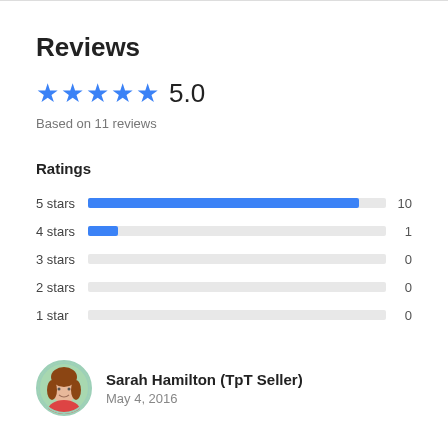Reviews
★★★★★ 5.0
Based on 11 reviews
Ratings
[Figure (bar-chart): Ratings breakdown]
Sarah Hamilton (TpT Seller)
May 4, 2016